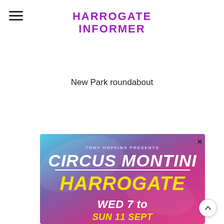HARROGATE INFORMER
New Park roundabout
[Figure (illustration): Advertisement for Circus Montini presented by Tony Hopkins, performing in Harrogate, Wed 7 to Sun 11 Sept, with colorful blue/purple/pink gradient background and large yellow and white text.]